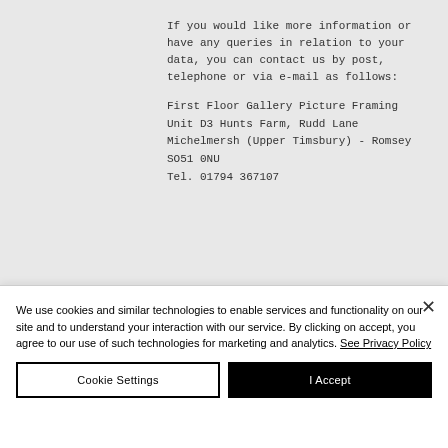If you would like more information or have any queries in relation to your data, you can contact us by post, telephone or via e-mail as follows:
First Floor Gallery Picture Framing Unit D3 Hunts Farm, Rudd Lane Michelmersh (Upper Timsbury) - Romsey
SO51 0NU
Tel. 01794 367107
We use cookies and similar technologies to enable services and functionality on our site and to understand your interaction with our service. By clicking on accept, you agree to our use of such technologies for marketing and analytics. See Privacy Policy